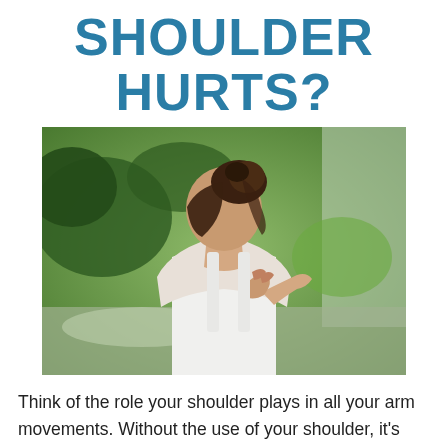SHOULDER HURTS?
[Figure (photo): Woman in white sleeveless top seen from behind, reaching her right hand up to touch her left shoulder, outdoors with green foliage in background]
Think of the role your shoulder plays in all your arm movements. Without the use of your shoulder, it's impossible to lift your arm or to reach out in front of you or behind your back. When you have a condition